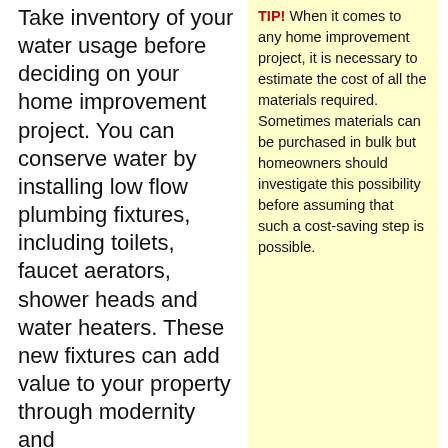Take inventory of your water usage before deciding on your home improvement project. You can conserve water by installing low flow plumbing fixtures, including toilets, faucet aerators, shower heads and water heaters. These new fixtures can add value to your property through modernity and environmentalism, along with saving a bunch on your monthly water bill.
TIP! When it comes to any home improvement project, it is necessary to estimate the cost of all the materials required. Sometimes materials can be purchased in bulk but homeowners should investigate this possibility before assuming that such a cost-saving step is possible.
TIP! Looking for a simple and cheap way to improve the look of your
Never undertake a new home improvement project without first ascertaining the